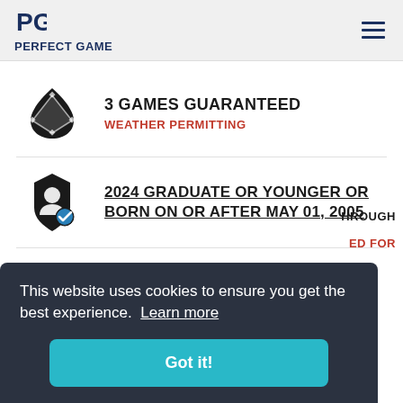PERFECT GAME
3 GAMES GUARANTEED
WEATHER PERMITTING
2024 GRADUATE OR YOUNGER OR BORN ON OR AFTER MAY 01, 2005
WOOD BAT ONLY
This website uses cookies to ensure you get the best experience. Learn more
Got it!